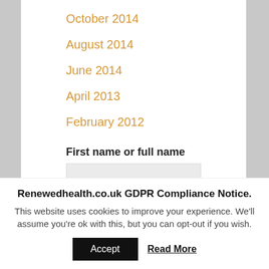October 2014
August 2014
June 2014
April 2013
February 2012
First name or full name
Email
Renewedhealth.co.uk GDPR Compliance Notice.
This website uses cookies to improve your experience. We'll assume you're ok with this, but you can opt-out if you wish.
Accept
Read More